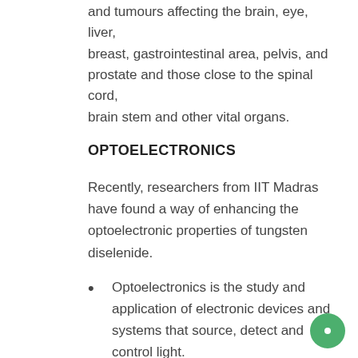and tumours affecting the brain, eye, liver, breast, gastrointestinal area, pelvis, and prostate and those close to the spinal cord, brain stem and other vital organs.
OPTOELECTRONICS
Recently, researchers from IIT Madras have found a way of enhancing the optoelectronic properties of tungsten diselenide.
Optoelectronics is the study and application of electronic devices and systems that source, detect and control light.
It is based on the quantum mechanical effects of light on electronic materials, especially semiconductors.
It encompasses the design, manufacture and